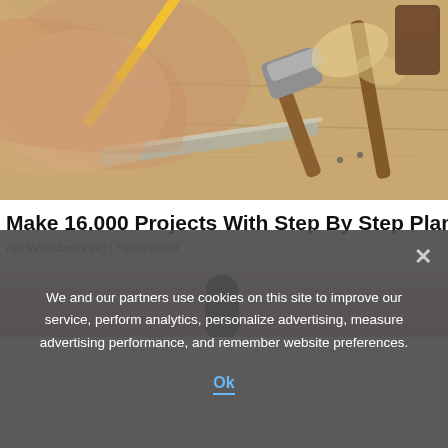[Figure (photo): Photo of hands doing woodworking — a person marking wood with a pencil and a metal square/ruler, a hammer, wood shavings, and other tools on a wooden workbench]
Make 16,000 Projects With Step By Step Plans
nib Woodworking | Sponsored
[Figure (photo): Partial second article image with pink/rose background, showing the top of a dark figure]
We and our partners use cookies on this site to improve our service, perform analytics, personalize advertising, measure advertising performance, and remember website preferences.
Ok